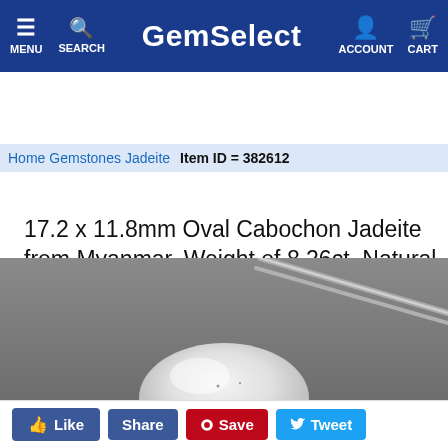GemSelect — MENU SEARCH ACCOUNT CART
Home  Gemstones  Jadeite  Item ID = 382612
17.2 x 11.8mm Oval Cabochon Jadeite from Myanmar, Weight of 8.26ct, Natural untreated Gemstone in Transparent Clarity, 1pc Jadeite - Color: , Mohs Hardness of 6 - 6.5
[Figure (photo): Close-up photo of an oval cabochon jadeite gemstone held by tweezers against a grey background. The stone appears white/pale and has a smooth domed top.]
Like  Share  Save  Tweet